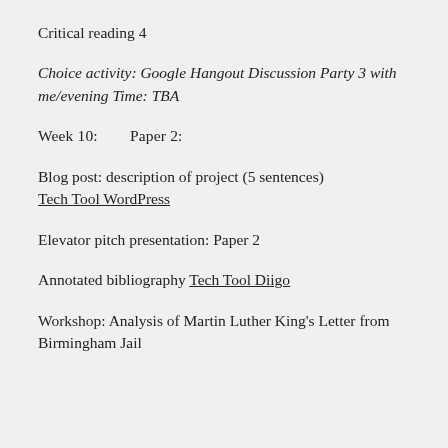Critical reading 4
Choice activity: Google Hangout Discussion Party 3 with me/evening Time: TBA
Week 10:        Paper 2:
Blog post: description of project (5 sentences) Tech Tool WordPress
Elevator pitch presentation: Paper 2
Annotated bibliography Tech Tool Diigo
Workshop: Analysis of Martin Luther King's Letter from Birmingham Jail